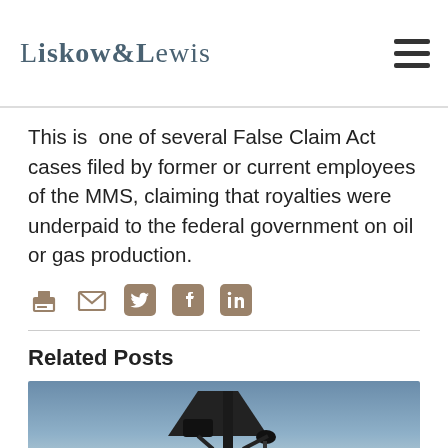Liskow & Lewis
This is one of several False Claim Act cases filed by former or current employees of the MMS, claiming that royalties were underpaid to the federal government on oil or gas production.
[Figure (other): Social sharing icons: print, email, Twitter, Facebook, LinkedIn]
Related Posts
[Figure (photo): Oil pump jack silhouette against a blue sky background]